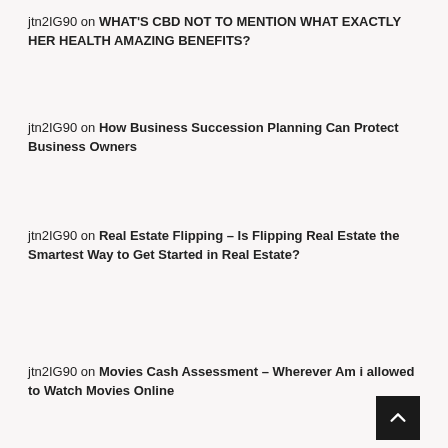jtn2IG90 on WHAT'S CBD NOT TO MENTION WHAT EXACTLY HER HEALTH AMAZING BENEFITS?
jtn2IG90 on How Business Succession Planning Can Protect Business Owners
jtn2IG90 on Real Estate Flipping – Is Flipping Real Estate the Smartest Way to Get Started in Real Estate?
jtn2IG90 on Movies Cash Assessment – Wherever Am i allowed to Watch Movies Online